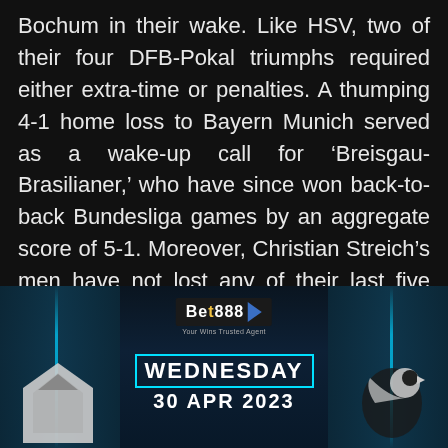Bochum in their wake. Like HSV, two of their four DFB-Pokal triumphs required either extra-time or penalties. A thumping 4-1 home loss to Bayern Munich served as a wake-up call for ‘Breisgau-Brasilianer,’ who have since won back-to-back Bundesliga games by an aggregate score of 5-1. Moreover, Christian Streich’s men have not lost any of their last five away matches in all competitions (W3, D2), conceding one goal or fewer on each occasion. Scoring could be a problem, though, as Freiburg have netted under 1.5 goals in three of their last four competitive away fixtures, which has been the case in four of their five previous visits to the Volksparkstadion.
[Figure (other): Bet888 sports betting advertisement banner with dark atmospheric background, glowing cyan columns, Bet888 logo, 'WEDNESDAY 30 APR 2023' text in white with cyan border, team badges on left and right sides.]